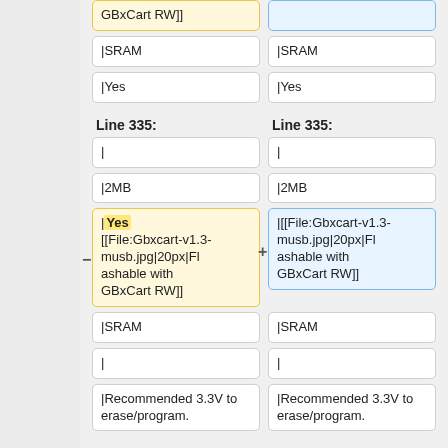|GBxCart RW]]
|SRAM
|Yes
Line 335:
|
|2MB
|Yes [[File:Gbxcart-v1.3-musb.jpg|20px|Flashable with GBxCart RW]]
|||[File:Gbxcart-v1.3-musb.jpg|20px|Flashable with GBxCart RW]]
|SRAM
|
|Recommended 3.3V to erase/program.
|Recommended 3.3V to erase/program.